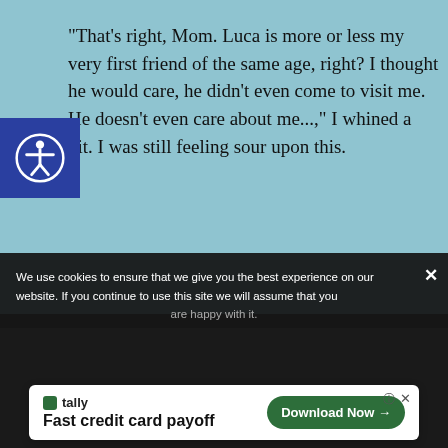“That’s right, Mom. Luca is more or less my very first friend of the same age, right? I thought he would care, he didn’t even come to visit me. He doesn’t even care about me....,” I whined a bit. I was still feeling sour upon this.
Mom then smiled.
sulked upon seeing her sm... response, hello?
[Figure (screenshot): Black video player overlay with a loading circle in the center and a close (X) button in the top right corner]
We use cookies to ensure that we give you the best experience on our website. If you continue to use this site we will assume that you are happy with it.
[Figure (infographic): Advertisement banner for Tally app: Fast credit card payoff, with a Download Now button]